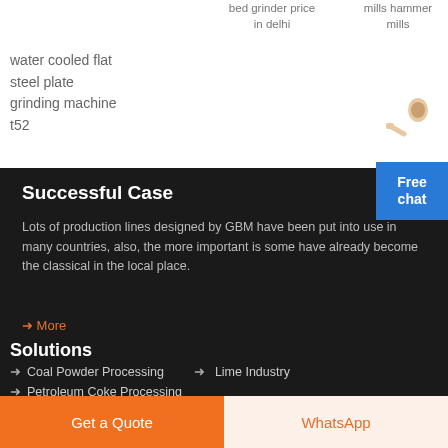bed grinder price in delhi
mills hammer mills
water cooled flat steel plate grinding machine t52
Successful Case
Lots of production lines designed by GBM have been put into use in many countries, also, the more important is some have already become the classical in the local place.
→ More
Solutions
Coal Powder Processing
Lime Industry
Petroleum Coke Processing
Get a Quote
WhatsApp